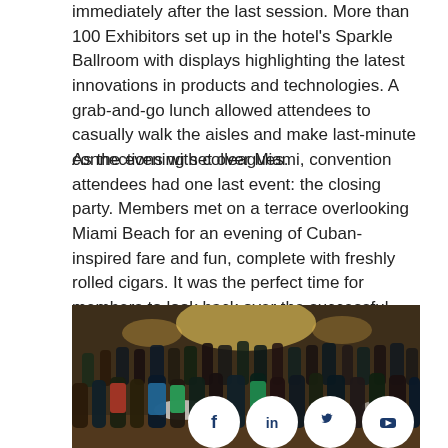immediately after the last session. More than 100 Exhibitors set up in the hotel's Sparkle Ballroom with displays highlighting the latest innovations in products and technologies. A grab-and-go lunch allowed attendees to casually walk the aisles and make last-minute connections with colleagues.
As the evening set over Miami, convention attendees had one last event: the closing party. Members met on a terrace overlooking Miami Beach for an evening of Cuban-inspired fare and fun, complete with freshly rolled cigars. It was the perfect time for members to look back over the successful 2022 NAHAD Convention and say goodbye, safe travels, and see you next year in the Bahamas for another surfside convention.
[Figure (photo): Group photo of convention attendees gathered in a ballroom with round tables, bright overhead lighting, and a crowd of hundreds of people posing for the photo. Social media icons (Facebook, LinkedIn, Twitter, YouTube) are overlaid in the bottom right corner.]